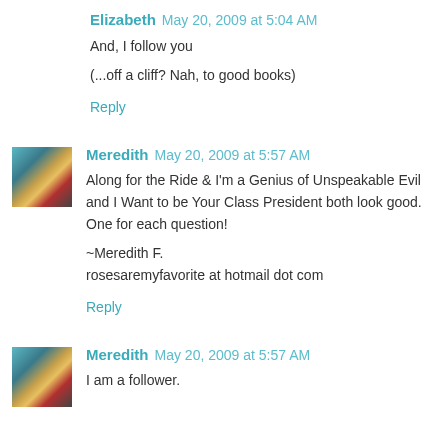Elizabeth May 20, 2009 at 5:04 AM
And, I follow you

(...off a cliff? Nah, to good books)
Reply
Meredith May 20, 2009 at 5:57 AM
Along for the Ride & I'm a Genius of Unspeakable Evil and I Want to be Your Class President both look good. One for each question!

~Meredith F.
rosesaremyfavorite at hotmail dot com
Reply
Meredith May 20, 2009 at 5:57 AM
I am a follower.